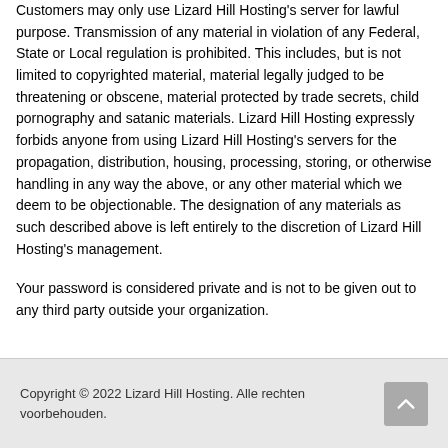Customers may only use Lizard Hill Hosting's server for lawful purpose. Transmission of any material in violation of any Federal, State or Local regulation is prohibited. This includes, but is not limited to copyrighted material, material legally judged to be threatening or obscene, material protected by trade secrets, child pornography and satanic materials. Lizard Hill Hosting expressly forbids anyone from using Lizard Hill Hosting's servers for the propagation, distribution, housing, processing, storing, or otherwise handling in any way the above, or any other material which we deem to be objectionable. The designation of any materials as such described above is left entirely to the discretion of Lizard Hill Hosting's management.
Your password is considered private and is not to be given out to any third party outside your organization.
Copyright © 2022 Lizard Hill Hosting. Alle rechten voorbehouden.